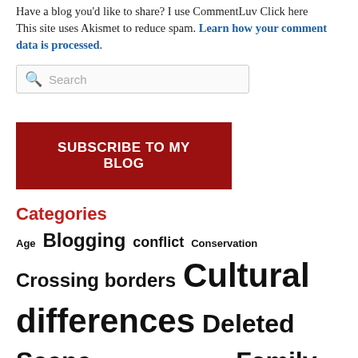Have a blog you'd like to share? I use CommentLuv Click here
This site uses Akismet to reduce spam. Learn how your comment data is processed.
[Figure (other): Search input box with magnifying glass icon and 'Search' placeholder text]
SUBSCRIBE TO MY BLOG
Categories
Age Blogging conflict Conservation Crossing borders Cultural differences Deleted Scene Education End of Life Family Friendship Holidays Jackson Kazakhstan Life Lessons